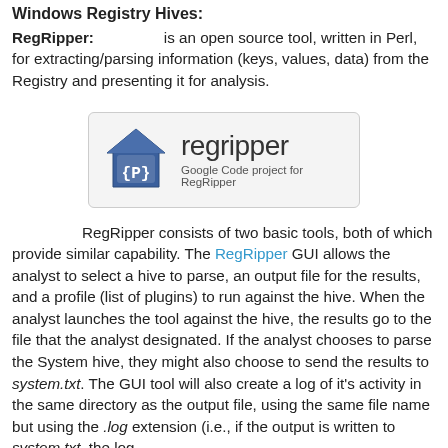Windows Registry Hives:
RegRipper: is an open source tool, written in Perl, for extracting/parsing information (keys, values, data) from the Registry and presenting it for analysis.
[Figure (logo): RegRipper logo — house icon with {P} and text 'regripper' with subtitle 'Google Code project for RegRipper']
RegRipper consists of two basic tools, both of which provide similar capability. The RegRipper GUI allows the analyst to select a hive to parse, an output file for the results, and a profile (list of plugins) to run against the hive. When the analyst launches the tool against the hive, the results go to the file that the analyst designated. If the analyst chooses to parse the System hive, they might also choose to send the results to system.txt. The GUI tool will also create a log of it's activity in the same directory as the output file, using the same file name but using the .log extension (i.e., if the output is written to system.txt, the log